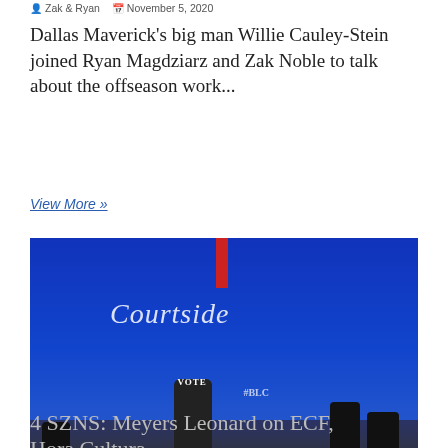Zak & Ryan   November 5, 2020
Dallas Maverick's big man Willie Cauley-Stein joined Ryan Magdziarz and Zak Noble to talk about the offseason work...
View More »
[Figure (photo): NBA Eastern Finals sideline scene with a tall player in a VOTE shirt celebrating, surrounded by coaches and staff in black, with 'Courtside' signage in the background]
4 SZNS: Meyers Leonard on ECF, Hora Cultura...